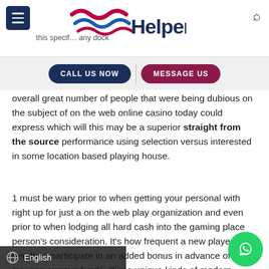Helper — navigation header with logo, hamburger menu, search icon, CALL US NOW and MESSAGE US buttons
overall great number of people that were being dubious on the subject of on the web online casino today could express which will this may be a superior straight from the source performance using selection versus interested in some location based playing house.
1 must be wary prior to when getting your personal with right up for just a on the web play organization and even prior to when lodging all hard cash into the gaming place person's consideration. It's how frequent a new player needs to participate in an added bonus in advance of the guy can remove funds. Since unique kinds of modern gambling establishment actions contain several consumers, itely not— ions tend to be similar when consi—g